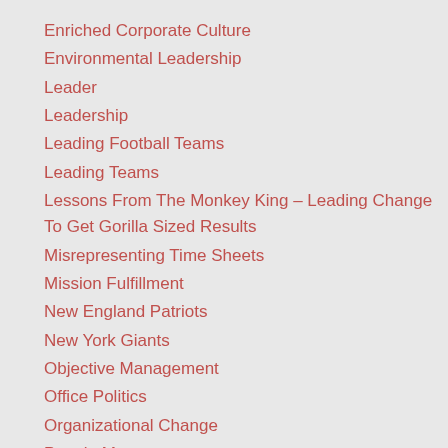Enriched Corporate Culture
Environmental Leadership
Leader
Leadership
Leading Football Teams
Leading Teams
Lessons From The Monkey King – Leading Change To Get Gorilla Sized Results
Misrepresenting Time Sheets
Mission Fulfillment
New England Patriots
New York Giants
Objective Management
Office Politics
Organizational Change
People Management
Relationships
Selfless
Strategic Leadership